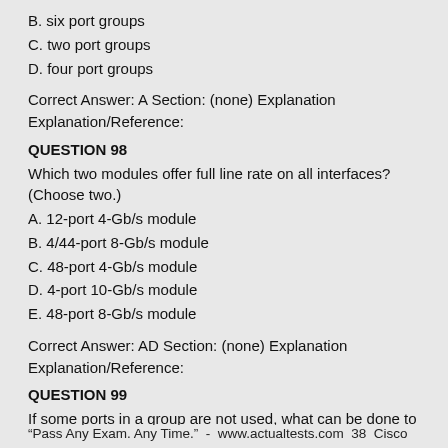B. six port groups
C. two port groups
D. four port groups
Correct Answer: A Section: (none) Explanation
Explanation/Reference:
QUESTION 98
Which two modules offer full line rate on all interfaces? (Choose two.)
A. 12-port 4-Gb/s module
B. 4/44-port 8-Gb/s module
C. 48-port 4-Gb/s module
D. 4-port 10-Gb/s module
E. 48-port 8-Gb/s module
Correct Answer: AD Section: (none) Explanation
Explanation/Reference:
QUESTION 99
If some ports in a group are not used, what can be done to release the bandwidth resources for that port in the group? Select the best response.
“Pass Any Exam. Any Time.”  -  www.actualtests.com  38  Cisco